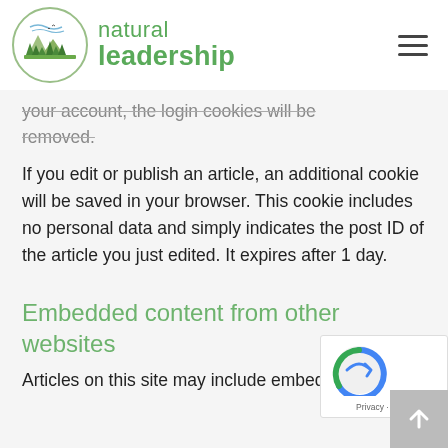natural leadership
your account, the login cookies will be removed.
If you edit or publish an article, an additional cookie will be saved in your browser. This cookie includes no personal data and simply indicates the post ID of the article you just edited. It expires after 1 day.
Embedded content from other websites
Articles on this site may include embedded